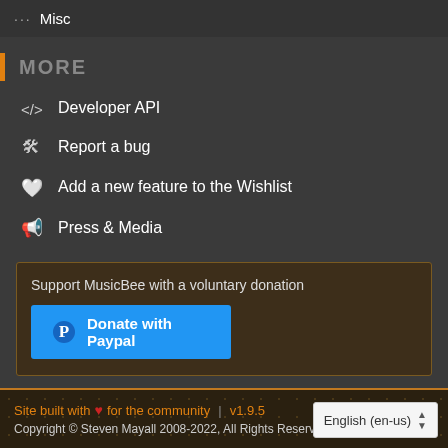··· Misc
MORE
</> Developer API
🐛 Report a bug
🤍 Add a new feature to the Wishlist
📢 Press & Media
Support MusicBee with a voluntary donation
Donate with Paypal
Site built with ❤ for the community | v1.9.5
Copyright © Steven Mayall 2008-2022, All Rights Reserved.
English (en-us)